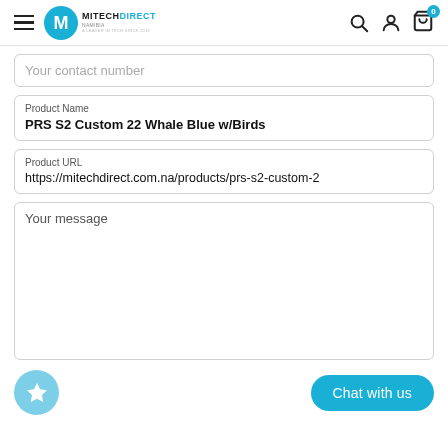MITECHDIRECT NAMIBIA
Your contact number
Product Name
PRS S2 Custom 22 Whale Blue w/Birds
Product URL
https://mitechdirect.com.na/products/prs-s2-custom-2
Your message
Chat with us